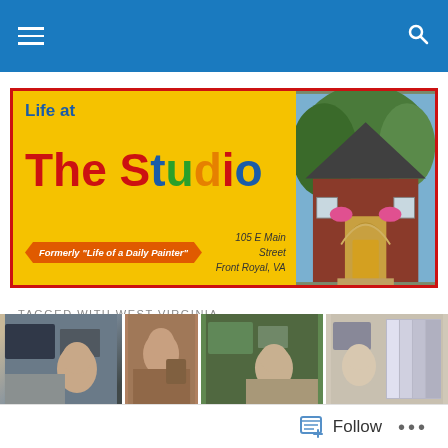Navigation bar with hamburger menu and search icon
[Figure (illustration): Life at The Studio blog banner. Yellow background with colorful text 'Life at The Studio', a red banner ribbon reading 'Formerly "Life of a Daily Painter"', address '105 E Main Street Front Royal, VA', and a photo of a brick building with an ornate entrance.]
TAGGED WITH WEST VIRGINIA
Silhouettes
[Figure (photo): A photo strip showing four cropped images of people and artwork in a gallery setting.]
Follow ...